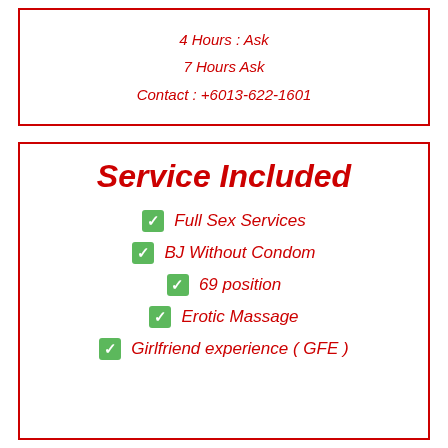4 Hours : Ask
7 Hours Ask
Contact : +6013-622-1601
Service Included
Full Sex Services
BJ Without Condom
69 position
Erotic Massage
Girlfriend experience ( GFE )